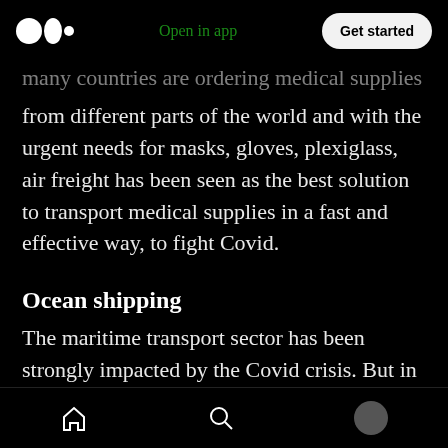Medium logo | Open in app | Get started
many countries are ordering medical supplies from different parts of the world and with the urgent needs for masks, gloves, plexiglass, air freight has been seen as the best solution to transport medical supplies in a fast and effective way, to fight Covid.
Ocean shipping
The maritime transport sector has been strongly impacted by the Covid crisis. But in 2020, lower oil prices coupled with increased purchases of goods (online) have enabled many companies to achieve record profits
Home | Search | Profile